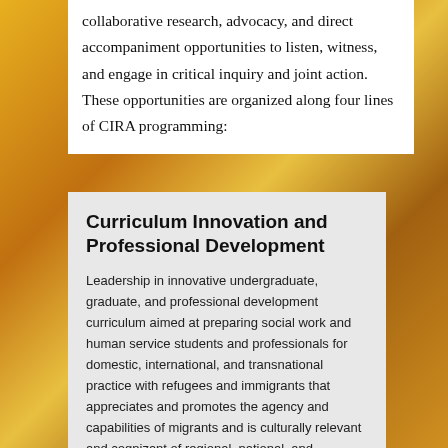collaborative research, advocacy, and direct accompaniment opportunities to listen, witness, and engage in critical inquiry and joint action. These opportunities are organized along four lines of CIRA programming:
Curriculum Innovation and Professional Development
Leadership in innovative undergraduate, graduate, and professional development curriculum aimed at preparing social work and human service students and professionals for domestic, international, and transnational practice with refugees and immigrants that appreciates and promotes the agency and capabilities of migrants and is culturally relevant and cognizant of regional, national, and international contexts.